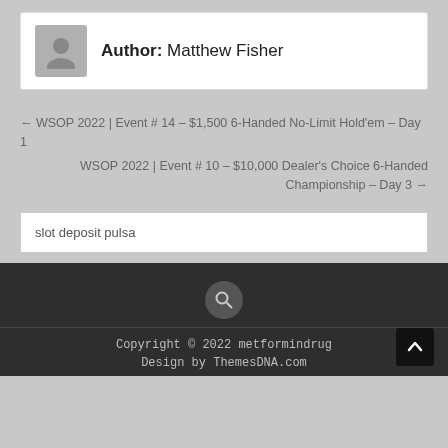Author: Matthew Fisher
← WSOP 2022 | Event # 14 – $1,500 6-Handed No-Limit Hold'em – Day 1
WSOP 2022 | Event # 10 – $10,000 Dealer's Choice 6-Handed Championship – Day 3 →
slot deposit pulsa
Copyright © 2022 metformindrug
Design by ThemesDNA.com